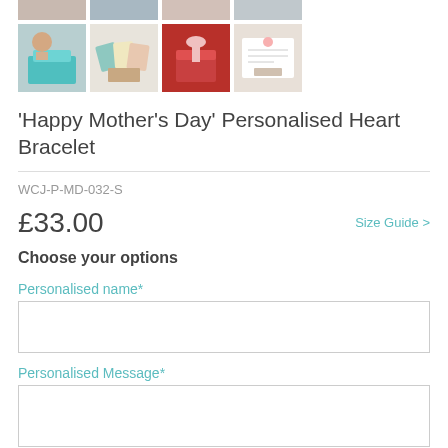[Figure (photo): Top strip of partially visible product thumbnail images]
[Figure (photo): Row of four product thumbnail images showing gift boxes, cards, and bracelets]
'Happy Mother's Day' Personalised Heart Bracelet
WCJ-P-MD-032-S
£33.00
Size Guide >
Choose your options
Personalised name*
Personalised Message*